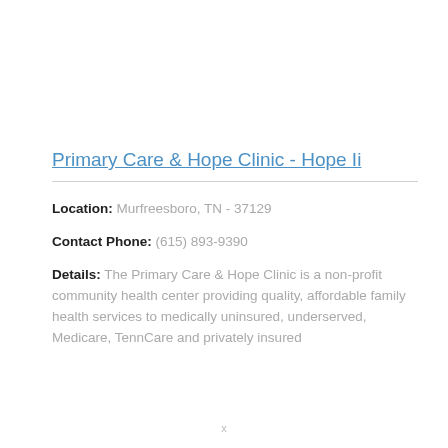Primary Care & Hope Clinic - Hope Ii
Location: Murfreesboro, TN - 37129
Contact Phone: (615) 893-9390
Details: The Primary Care & Hope Clinic is a non-profit community health center providing quality, affordable family health services to medically uninsured, underserved, Medicare, TennCare and privately insured
x